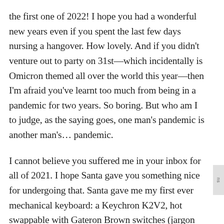the first one of 2022! I hope you had a wonderful new years even if you spent the last few days nursing a hangover. How lovely. And if you didn't venture out to party on 31st—which incidentally is Omicron themed all over the world this year—then I'm afraid you've learnt too much from being in a pandemic for two years. So boring. But who am I to judge, as the saying goes, one man's pandemic is another man's… pandemic.
I cannot believe you suffered me in your inbox for all of 2021. I hope Santa gave you something nice for undergoing that. Santa gave me my first ever mechanical keyboard: a Keychron K2V2, hot swappable with Gateron Brown switches (jargon that I've recently learnt). Just know that it's clickity clackity and sounds nice… to me, and like 2001, to any reasonable person who can't understand why mechanical keyboards and travel agencies are a thing